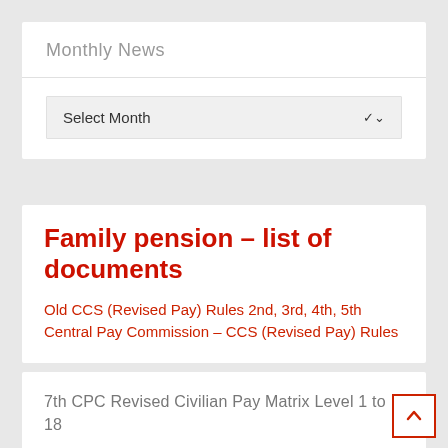Monthly News
Select Month
Family pension – list of documents
Old CCS (Revised Pay) Rules 2nd, 3rd, 4th, 5th Central Pay Commission – CCS (Revised Pay) Rules
7th CPC Revised Civilian Pay Matrix Level 1 to 18